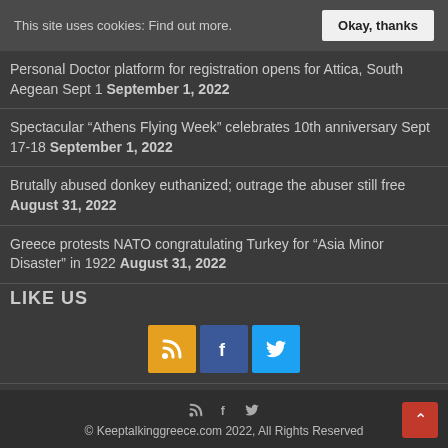This site uses cookies: Find out more. Okay, thanks
Personal Doctor platform for registration opens for Attica, South Aegean Sept 1 September 1, 2022
Spectacular “Athens Flying Week” celebrates 10th anniversary Sept 17-18 September 1, 2022
Brutally abused donkey euthanized; outrage the abuser still free August 31, 2022
Greece protests NATO congratulating Turkey for “Asia Minor Disaster” in 1922 August 31, 2022
LIKE US
[Figure (other): Social media icons: RSS (yellow), Facebook (blue), Twitter (light blue)]
© Keeptalkinggreece.com 2022, All Rights Reserved